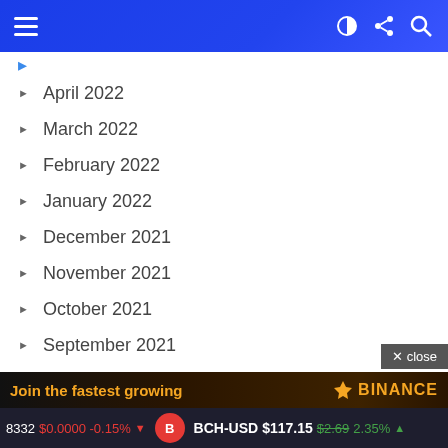Navigation bar with menu, dark mode, share, and search icons
April 2022
March 2022
February 2022
January 2022
December 2021
November 2021
October 2021
September 2021
August 2021
July 2021
June 2021
May 2021
April 2021
March 2021
February 2021
[Figure (screenshot): Binance advertisement banner: Join the fastest growing with Binance logo]
$0.0000 -0.15% ▼  BCH-USD $117.15 $2.69 2.35% ▲